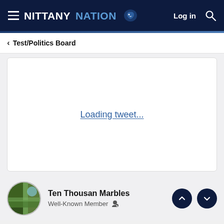NITTANY NATION — Log in
< Test/Politics Board
[Figure (screenshot): Loading tweet... link in a white bordered box]
Loading tweet...
Ten Thousan Marbles
Well-Known Member